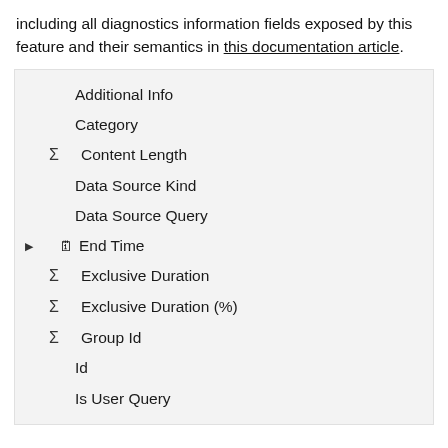including all diagnostics information fields exposed by this feature and their semantics in this documentation article.
[Figure (screenshot): A UI panel showing a list of data fields with icons: Additional Info, Category, Content Length (Sigma), Data Source Kind, Data Source Query, End Time (arrow + calendar icon), Exclusive Duration (Sigma), Exclusive Duration (%) (Sigma), Group Id (Sigma), Id, Is User Query]